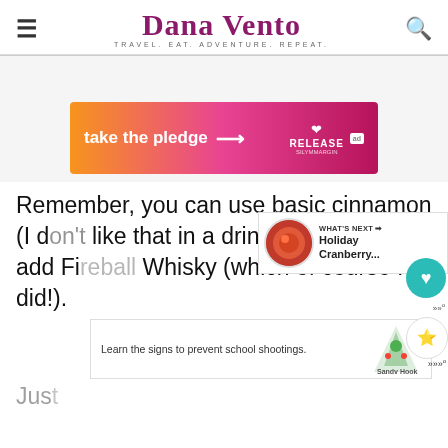Dana Vento — TRAVEL. EAT. ADVENTURE. REPEAT.
[Figure (screenshot): Advertisement banner: orange-to-pink gradient with text 'take the pledge →' and 'RELEASE' branding with heart icon and 'ad' badge]
Remember, you can use basic cinnamon (I don't like that in a drink) or you can add Fireball Whisky (which of course I did!).
[Figure (screenshot): What's Next widget showing Holiday Cranberry... article with circular food image]
[Figure (screenshot): Bottom advertisement: 'Learn the signs to prevent school shootings.' with Sandy Hook Promise logo and tree graphic]
Jus... favorita b...